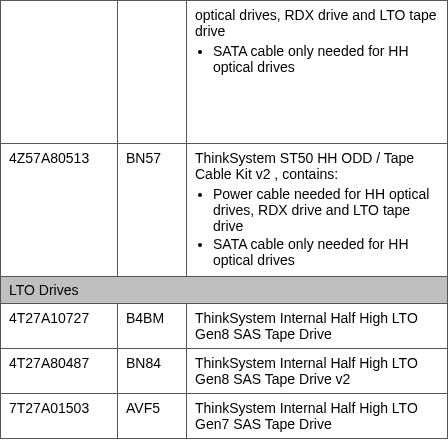|  |  | optical drives, RDX drive and LTO tape drive
SATA cable only needed for HH optical drives |
| 4Z57A80513 | BN57 | ThinkSystem ST50 HH ODD / Tape Cable Kit v2 , contains:
Power cable needed for HH optical drives, RDX drive and LTO tape drive
SATA cable only needed for HH optical drives |
| LTO Drives |  |  |
| 4T27A10727 | B4BM | ThinkSystem Internal Half High LTO Gen8 SAS Tape Drive |
| 4T27A80487 | BN84 | ThinkSystem Internal Half High LTO Gen8 SAS Tape Drive v2 |
| 7T27A01503 | AVF5 | ThinkSystem Internal Half High LTO Gen7 SAS Tape Drive |